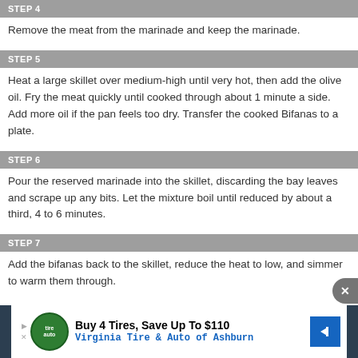STEP 4
Remove the meat from the marinade and keep the marinade.
STEP 5
Heat a large skillet over medium-high until very hot, then add the olive oil. Fry the meat quickly until cooked through about 1 minute a side. Add more oil if the pan feels too dry. Transfer the cooked Bifanas to a plate.
STEP 6
Pour the reserved marinade into the skillet, discarding the bay leaves and scrape up any bits. Let the mixture boil until reduced by about a third, 4 to 6 minutes.
STEP 7
Add the bifanas back to the skillet, reduce the heat to low, and simmer to warm them through.
[Figure (other): Advertisement banner: Buy 4 Tires, Save Up To $110, Virginia Tire & Auto of Ashburn]